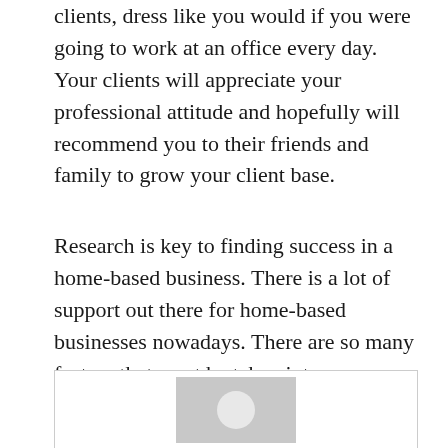clients, dress like you would if you were going to work at an office every day. Your clients will appreciate your professional attitude and hopefully will recommend you to their friends and family to grow your client base.
Research is key to finding success in a home-based business. There is a lot of support out there for home-based businesses nowadays. There are so many factors that must be taken into consideration that one should be organized with their papers as well as their time.
[Figure (photo): Placeholder image box with grey rectangle and white circle in center]